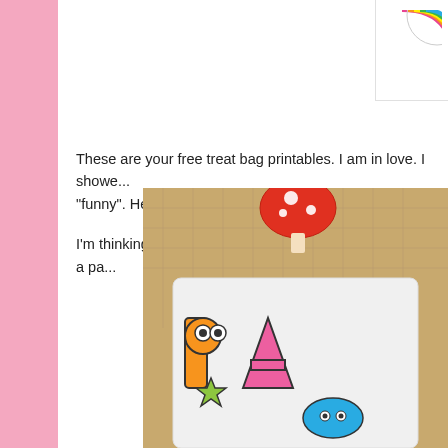[Figure (logo): Colorful circular logo partially visible in top right corner, appears to be a crafting/party blog logo with rainbow colors]
These are your free treat bag printables.  I am in love.  I showe... "funny".  Hehehe...
I'm thinking you can use these treat bags for Halloween or a pa...
[Figure (photo): Photo of a treat bag/cup with colorful cartoon monster or party characters spelling 'PA...' on a burlap background, with a red mushroom-like figure visible above]